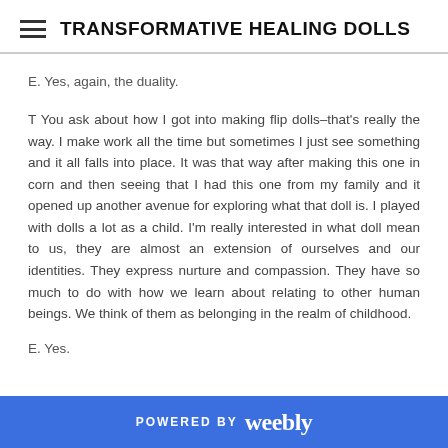TRANSFORMATIVE HEALING DOLLS
E. Yes, again, the duality.
T You ask about how I got into making flip dolls–that's really the way. I make work all the time but sometimes I just see something and it all falls into place. It was that way after making this one in corn and then seeing that I had this one from my family and it opened up another avenue for exploring what that doll is. I played with dolls a lot as a child. I'm really interested in what doll mean to us, they are almost an extension of ourselves and our identities. They express nurture and compassion. They have so much to do with how we learn about relating to other human beings. We think of them as belonging in the realm of childhood.
E. Yes.
POWERED BY weebly